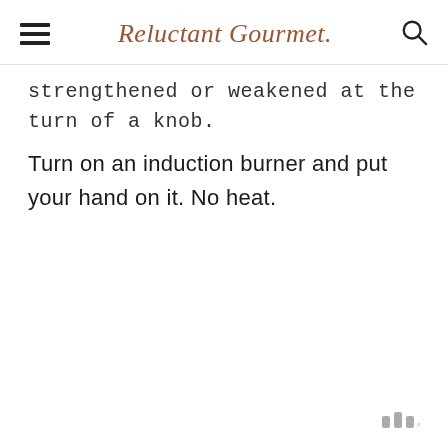Reluctant Gourmet
strengthened or weakened at the turn of a knob.
Turn on an induction burner and put your hand on it.  No heat.